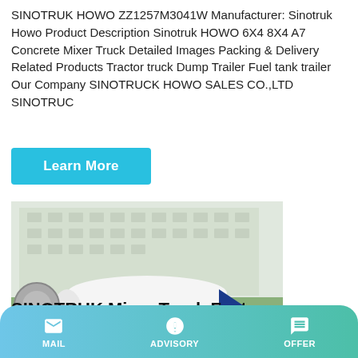SINOTRUK HOWO ZZ1257M3041W Manufacturer: Sinotruk Howo Product Description Sinotruk HOWO 6X4 8X4 A7 Concrete Mixer Truck Detailed Images Packing & Delivery Related Products Tractor truck Dump Trailer Fuel tank trailer Our Company SINOTRUCK HOWO SALES CO.,LTD SINOTRUC
Learn More
[Figure (photo): Sinotruk fuel tank trailer / mixer truck in outdoor setting with building in background]
SINOTRUK Mixer Truck Factory, Buy Good Price Oil Tank...
MAIL   ADVISORY   OFFER